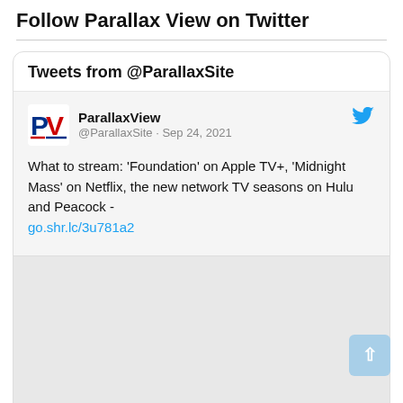Follow Parallax View on Twitter
Tweets from @ParallaxSite
[Figure (screenshot): Tweet from @ParallaxSite (ParallaxView) dated Sep 24, 2021, with PV logo and Twitter bird icon. Tweet text: What to stream: 'Foundation' on Apple TV+, 'Midnight Mass' on Netflix, the new network TV seasons on Hulu and Peacock - go.shr.lc/3u781a2]
What to stream: 'Foundation' on Apple TV+, 'Midnight Mass' on Netflix, the new network TV seasons on Hulu and Peacock - go.shr.lc/3u781a2